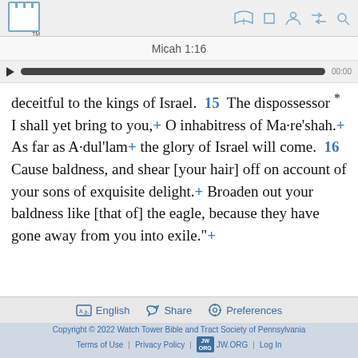Micah 1:16
deceitful to the kings of Israel.  15  The dispossessor * I shall yet bring to you,+ O inhabitress of Ma·re'shah.+ As far as A·dul'lam+ the glory of Israel will come.  16  Cause baldness, and shear [your hair] off on account of your sons of exquisite delight.+ Broaden out your baldness like [that of] the eagle, because they have gone away from you into exile."+
Copyright © 2022 Watch Tower Bible and Tract Society of Pennsylvania | Terms of Use | Privacy Policy | JW.ORG | Log In